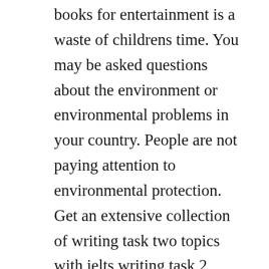books for entertainment is a waste of childrens time. You may be asked questions about the environment or environmental problems in your country. People are not paying attention to environmental protection. Get an extensive collection of writing task two topics with ielts writing task 2 recent actual tests book.
Write your name and candidate number in the spaces at the top of this page. Home ielts recent actual test with answers volume 1 writing practice test 2. Book 8, test 3, writing